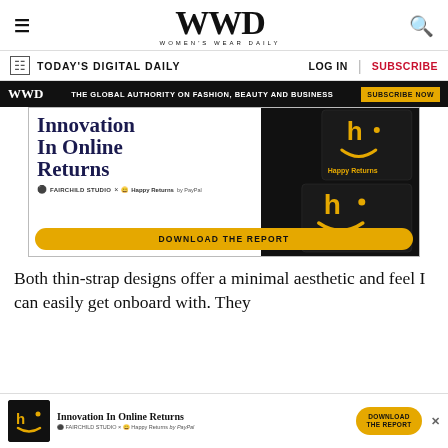WWD — WOMEN'S WEAR DAILY
TODAY'S DIGITAL DAILY | LOG IN | SUBSCRIBE
[Figure (advertisement): WWD banner ad: THE GLOBAL AUTHORITY ON FASHION, BEAUTY AND BUSINESS — SUBSCRIBE NOW]
[Figure (advertisement): Happy Returns ad — Innovation In Online Returns. Fairchild Studio x Happy Returns by PayPal. DOWNLOAD THE REPORT button.]
Both thin-strap designs offer a minimal aesthetic and feel I can easily get onboard with. They
[Figure (advertisement): Bottom banner ad — Innovation In Online Returns. Happy Returns box image. DOWNLOAD THE REPORT button.]